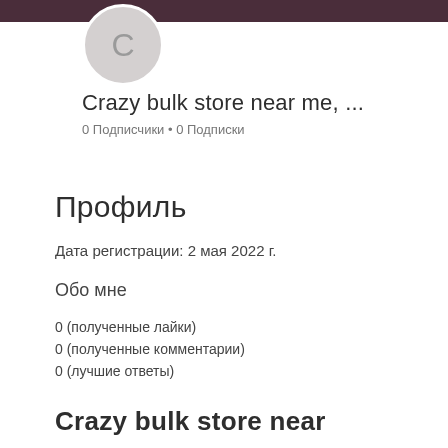[Figure (illustration): User avatar circle with letter C on dark header background]
Crazy bulk store near me, ...
0 Подписчики • 0 Подписки
Профиль
Дата регистрации: 2 мая 2022 г.
Обо мне
0 (полученные лайки)
0 (полученные комментарии)
0 (лучшие ответы)
Crazy bulk store near